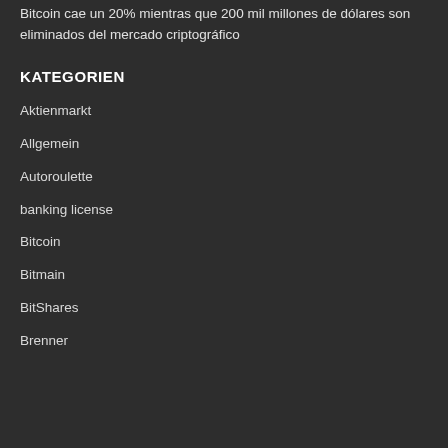Bitcoin cae un 20% mientras que 200 mil millones de dólares son eliminados del mercado criptográfico
KATEGORIEN
Aktienmarkt
Allgemein
Autoroulette
banking license
Bitcoin
Bitmain
BitShares
Brenner